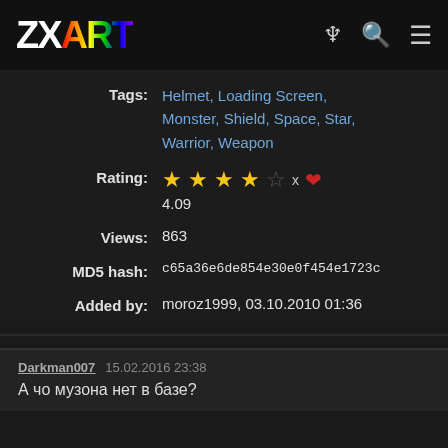ZXART
Tags: Helmet, Loading Screen, Monster, Shield, Space, Star, Warrior, Weapon
Rating: ★★★★☆ x ♥ 4.09
Views: 863
MD5 hash: c65a36e6de854e30e0f454e1723c
Added by: moroz1999, 03.10.2010 01:36
Darkman007  15.02.2016 23:38
А чо музона нет в базе?